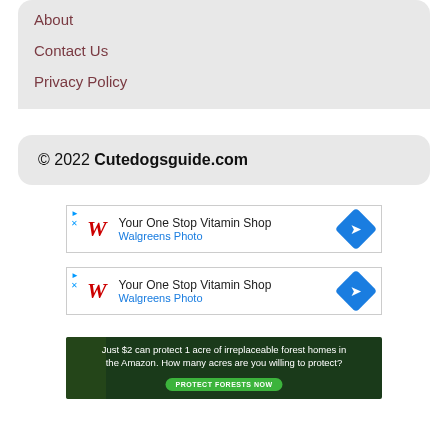About
Contact Us
Privacy Policy
© 2022 Cutedogsguide.com
[Figure (other): Walgreens ad: Your One Stop Vitamin Shop, Walgreens Photo]
[Figure (other): Walgreens ad: Your One Stop Vitamin Shop, Walgreens Photo]
[Figure (other): Forest conservation ad: Just $2 can protect 1 acre of irreplaceable forest homes in the Amazon. How many acres are you willing to protect? PROTECT FORESTS NOW]